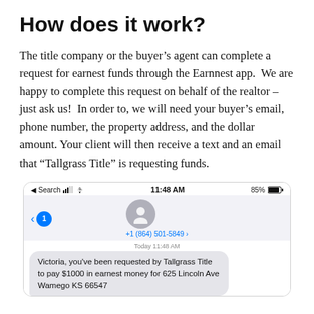How does it work?
The title company or the buyer’s agent can complete a request for earnest funds through the Earnnest app.  We are happy to complete this request on behalf of the realtor – just ask us!  In order to, we will need your buyer’s email, phone number, the property address, and the dollar amount. Your client will then receive a text and an email that “Tallgrass Title” is requesting funds.
[Figure (screenshot): iPhone screenshot of a text message from +1 (864) 501-5849 reading: Victoria, you've been requested by Tallgrass Title to pay $1000 in earnest money for 625 Lincoln Ave Wamego KS 66547]